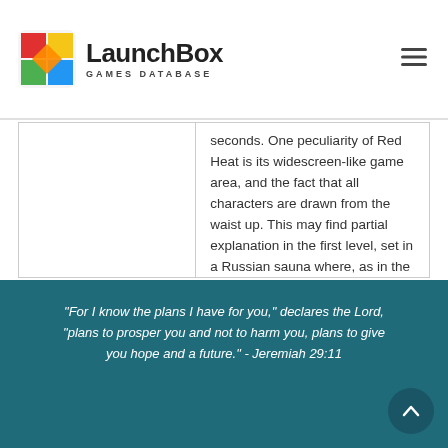LaunchBox GAMES DATABASE
seconds. One peculiarity of Red Heat is its widescreen-like game area, and the fact that all characters are drawn from the waist up. This may find partial explanation in the first level, set in a Russian sauna where, as in the original movie scene, all characters are not wearing clothes.
"For I know the plans I have for you," declares the Lord, "plans to prosper you and not to harm you, plans to give you hope and a future." - Jeremiah 29:11